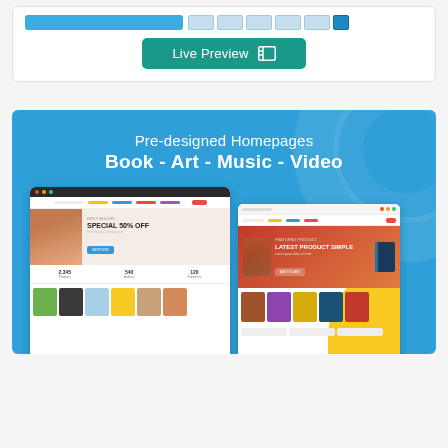[Figure (screenshot): Top card with preview thumbnails and a teal Live Preview button with grid icon]
[Figure (screenshot): Blue promotional banner showing Pre-designed Homepages for Book - Art - Music - Video with two website screenshots below]